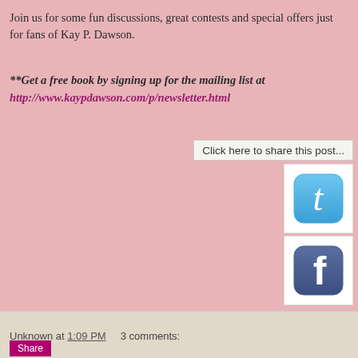Join us for some fun discussions, great contests and special offers just for fans of Kay P. Dawson.
**Get a free book by signing up for the mailing list at http://www.kaypdawson.com/p/newsletter.html
Click here to share this post...
[Figure (logo): Twitter bird logo icon, blue rounded square button]
[Figure (logo): Facebook 'f' logo icon, dark blue rounded square button]
Unknown at 1:09 PM    3 comments: